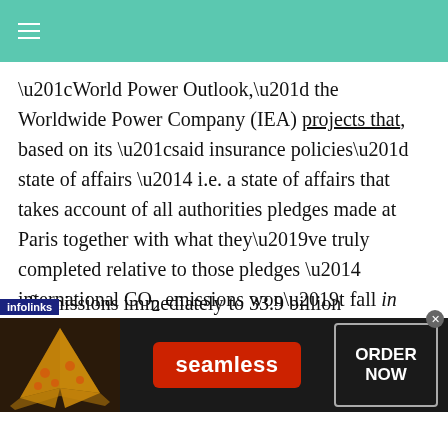“World Power Outlook,” the Worldwide Power Company (IEA) projects that, based on its “said insurance policies” state of affairs — i.e. a state of affairs that takes account of all authorities pledges made at Paris together with what they’ve truly completed relative to those pledges — international CO2 emissions won’t fall in any respect as of 2030 and can fall by lower than 6 p.c as of 2050, from 36 billion of emissions immediately to 33.9 billion
[Figure (screenshot): Seamless food delivery advertisement banner with pizza image on left, red Seamless button in center, and ORDER NOW box on right, overlaid on article page]